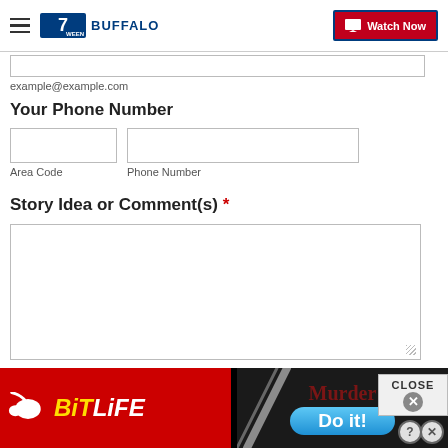7 WEEN BUFFALO — Watch Now
example@example.com
Your Phone Number
Area Code | Phone Number
Story Idea or Comment(s) *
Submit
[Figure (screenshot): BitLife and Murder Do it! advertisement banner at the bottom of the page]